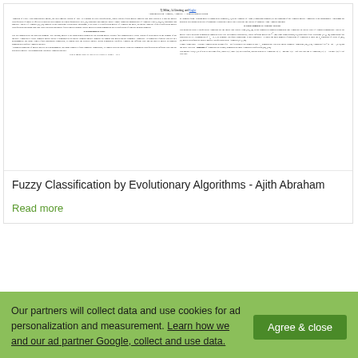[Figure (screenshot): Thumbnail preview of a scientific paper with two-column layout, showing dense academic text with section headers and references typical of a research paper on fuzzy classification.]
Fuzzy Classification by Evolutionary Algorithms - Ajith Abraham
Read more
Our partners will collect data and use cookies for ad personalization and measurement. Learn how we and our ad partner Google, collect and use data.
Agree & close